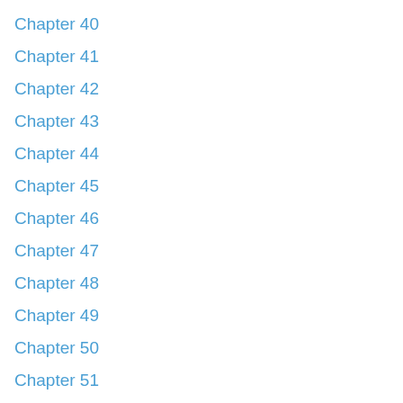Chapter 40
Chapter 41
Chapter 42
Chapter 43
Chapter 44
Chapter 45
Chapter 46
Chapter 47
Chapter 48
Chapter 49
Chapter 50
Chapter 51
Chapter 52
Chapter 53